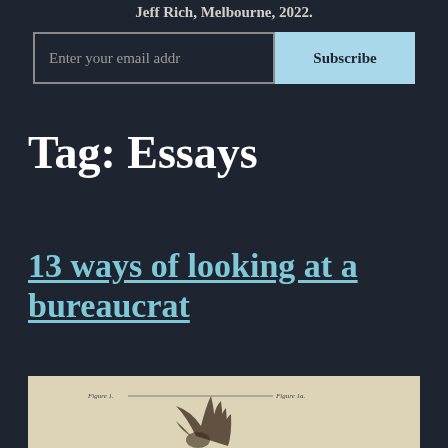Jeff Rich, Melbourne, 2022.
Enter your email addr
Subscribe
Tag: Essays
13 ways of looking at a bureaucrat
[Figure (illustration): Vintage anatomical illustration of a bird/wing on aged paper background, with 'Figure 1.' and 'Figure 1a.' labels and a horizontal line connecting them.]